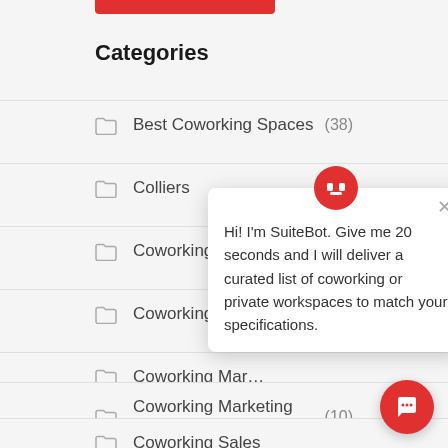Categories
Best Coworking Spaces (38)
Colliers (1)
Coworking
Coworking Agr…
Coworking Mar…
Coworking Marketing Strategies (10)
Coworking Sales
Hi! I'm SuiteBot. Give me 20 seconds and I will deliver a curated list of coworking or private workspaces to match your specifications.